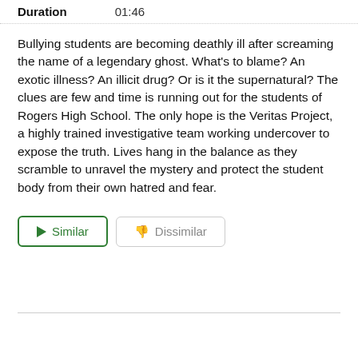Duration  01:46
Bullying students are becoming deathly ill after screaming the name of a legendary ghost. What's to blame? An exotic illness? An illicit drug? Or is it the supernatural? The clues are few and time is running out for the students of Rogers High School. The only hope is the Veritas Project, a highly trained investigative team working undercover to expose the truth. Lives hang in the balance as they scramble to unravel the mystery and protect the student body from their own hatred and fear.
▶ Similar  👎 Dissimilar